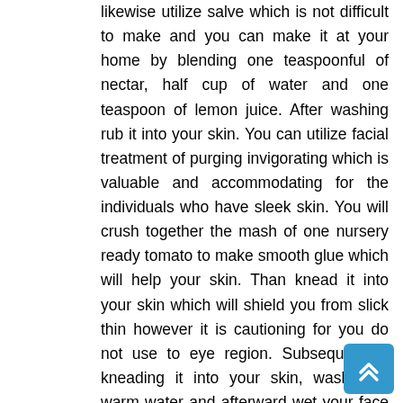likewise utilize salve which is not difficult to make and you can make it at your home by blending one teaspoonful of nectar, half cup of water and one teaspoon of lemon juice. After washing rub it into your skin. You can utilize facial treatment of purging invigorating which is valuable and accommodating for the individuals who have sleek skin. You will crush together the mash of one nursery ready tomato to make smooth glue which will help your skin. Than knead it into your skin which will shield you from slick thin however it is cautioning for you do not use to eye region. Subsequent to kneading it into your skin, wash with warm water and afterward wet your face with cold water.
Enormous pores and openings on your skin can harm your skin wellbeing. These means might be useful for you that will ensure you by huge pores and openings. You should quit utilizing business merchandise on your skin. Instead of these, utilization hand crafted skin items. W your face with warm water and rub the soaked feast all